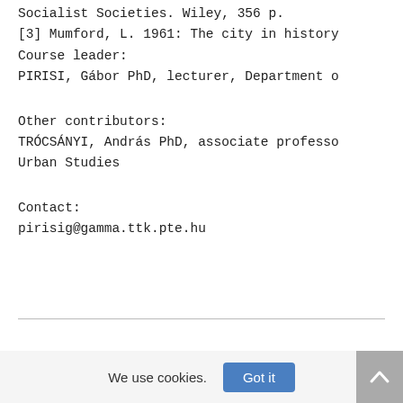Socialist Societies. Wiley, 356 p.
[3] Mumford, L. 1961: The city in history
Course leader:
PIRISI, Gábor PhD, lecturer, Department o
Other contributors:
TRÓCSÁNYI, András PhD, associate professo
Urban Studies
Contact:
pirisig@gamma.ttk.pte.hu